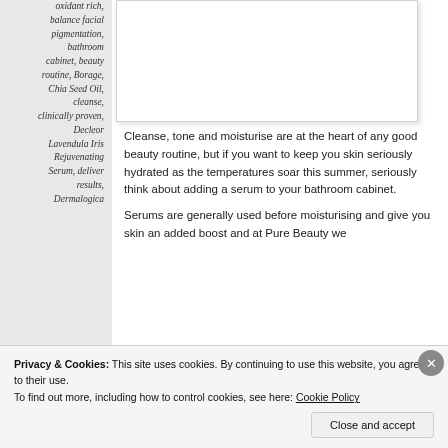oxidant rich, balance facial pigmentation, bathroom cabinet, beauty routine, Borage, Chia Seed Oil, cleanse, clinically proven, Decleor Lavendula Iris Rejuvenating Serum, deliver results, Dermalogica
[Figure (photo): White image/photo box in upper right area of main content]
Cleanse, tone and moisturise are at the heart of any good beauty routine, but if you want to keep you skin seriously hydrated as the temperatures soar this summer, seriously think about adding a serum to your bathroom cabinet.
Serums are generally used before moisturising and give you skin an added boost and at Pure Beauty we
Privacy & Cookies: This site uses cookies. By continuing to use this website, you agree to their use.
To find out more, including how to control cookies, see here: Cookie Policy
Close and accept